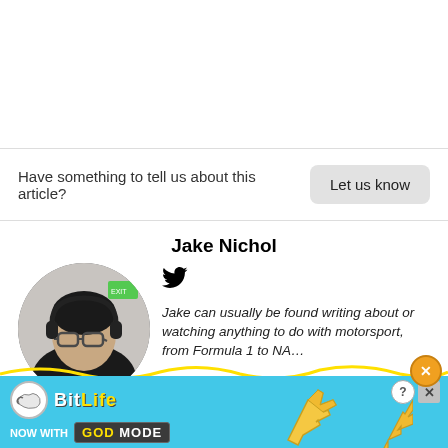Have something to tell us about this article?  Let us know
Jake Nichol
[Figure (photo): Circular profile photo of Jake Nichol, a young person with glasses and headphones, wearing a dark jacket, with an emergency exit sign visible in background.]
Jake can usually be found writing about or watching anything to do with motorsport, from Formula 1 to NA…
[Figure (screenshot): BitLife advertisement banner with 'NOW WITH GOD MODE' text on a teal background with hand/finger graphics.]